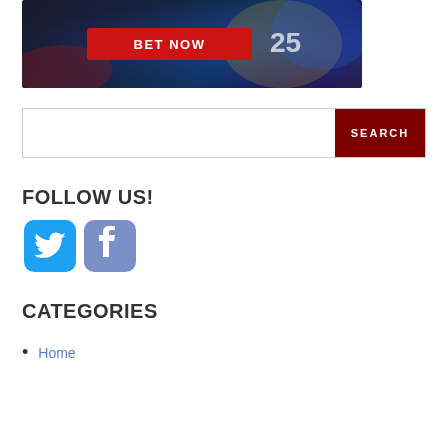[Figure (photo): Sports betting banner with athlete wearing jersey number 25 and a red BET NOW button]
[Figure (other): Search bar with dark red SEARCH button on the right]
FOLLOW US!
[Figure (other): Twitter and Facebook social media icon buttons]
CATEGORIES
Home